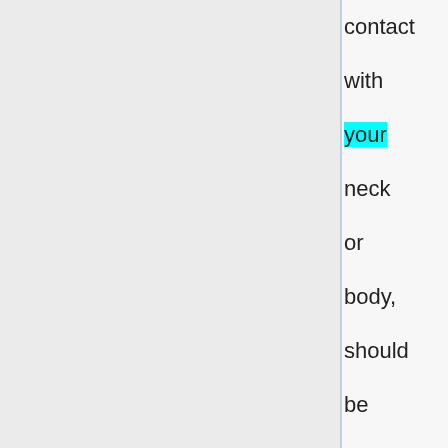contact with your neck or body, should be padded.
10. Your helm needs to be equipped with a chin strap or other